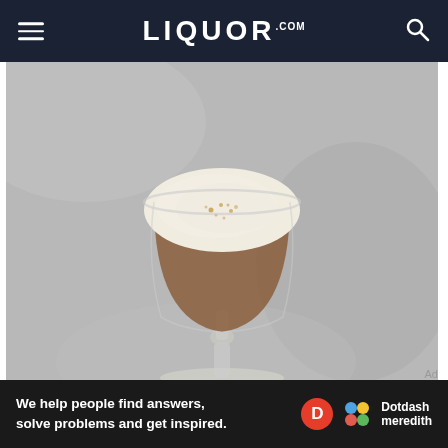LIQUOR.COM
[Figure (photo): A cocktail in a wine glass topped with a thick creamy foam and dusted with spice (nutmeg), set against a gray marble background. The drink is brown/amber in color.]
Ad
We help people find answers, solve problems and get inspired. Dotdash meredith